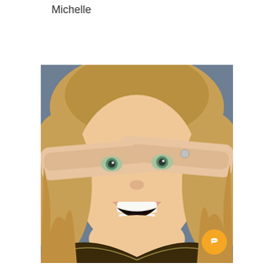Michelle
[Figure (photo): Portrait photo of a blonde woman with green eyes, hands framing her eyes from both sides, mouth open wide in an expressive pose, wearing a sparkly outfit, studio background.]